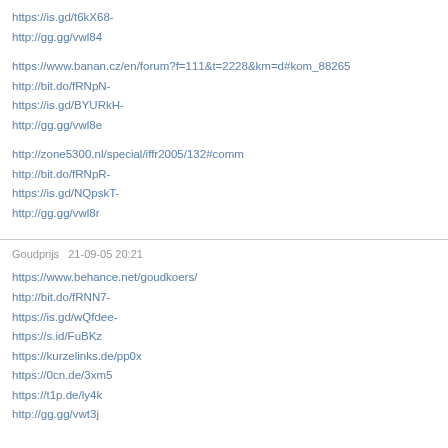https://is.gd/t6kX68-
http://gg.gg/vwl84
https://www.banan.cz/en/forum?f=111&t=2228&km=d#kom_88265
http://bit.do/fRNpN-
https://is.gd/BYURkH-
http://gg.gg/vwl8e
http://zone5300.nl/special/iffr2005/132#comm
http://bit.do/fRNpR-
https://is.gd/NQpskT-
http://gg.gg/vwl8r
Goudprijs   21-09-05 20:21
https://www.behance.net/goudkoers/
http://bit.do/fRNN7-
https://is.gd/wQfdee-
https://s.id/FuBKz
https://kurzelinks.de/pp0x
https://0cn.de/3xm5
https://t1p.de/ly4k
http://gg.gg/vwt3j